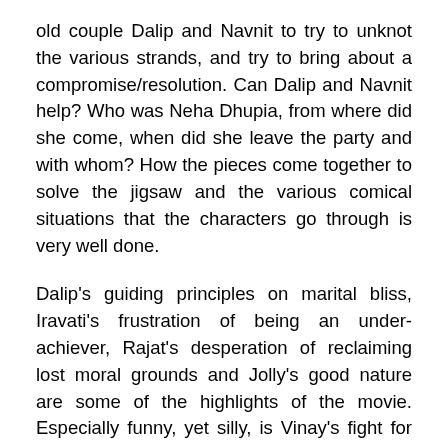old couple Dalip and Navnit to try to unknot the various strands, and try to bring about a compromise/resolution. Can Dalip and Navnit help? Who was Neha Dhupia, from where did she come, when did she leave the party and with whom? How the pieces come together to solve the jigsaw and the various comical situations that the characters go through is very well done.
Dalip's guiding principles on marital bliss, Iravati's frustration of being an under-achiever, Rajat's desperation of reclaiming lost moral grounds and Jolly's good nature are some of the highlights of the movie. Especially funny, yet silly, is Vinay's fight for righteousness when he knows he is wrong; Jolly's tarot card reading and belief in vastu and the interaction in the club, the confusion at Neha's apartment were just hilarious.